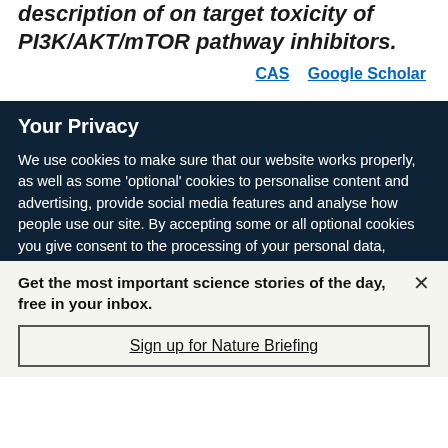description of on target toxicity of PI3K/AKT/mTOR pathway inhibitors.
CAS   Google Scholar
Your Privacy
We use cookies to make sure that our website works properly, as well as some 'optional' cookies to personalise content and advertising, provide social media features and analyse how people use our site. By accepting some or all optional cookies you give consent to the processing of your personal data, including transfer to third parties, some in countries outside of the European Economic Area that do not offer the same data protection standards as the country where you live. You can decide which optional cookies to accept by clicking on 'Manage Settings', where you can
Get the most important science stories of the day, free in your inbox.
Sign up for Nature Briefing